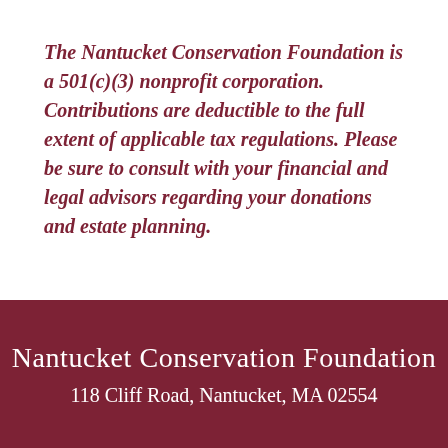The Nantucket Conservation Foundation is a 501(c)(3) nonprofit corporation. Contributions are deductible to the full extent of applicable tax regulations. Please be sure to consult with your financial and legal advisors regarding your donations and estate planning.
Nantucket Conservation Foundation
118 Cliff Road, Nantucket, MA 02554